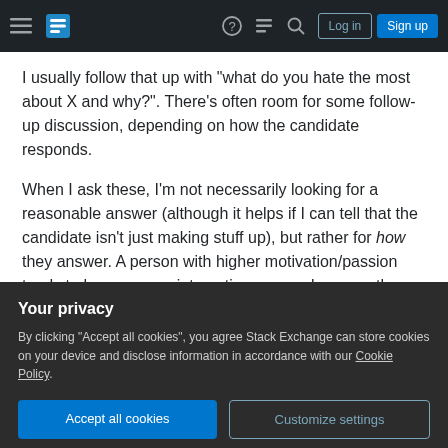Stack Exchange navigation bar with hamburger menu, logo, help, chat, search icons, Log in and Sign up buttons
I usually follow that up with "what do you hate the most about X and why?". There's often room for some follow-up discussion, depending on how the candidate responds.
When I ask these, I'm not necessarily looking for a reasonable answer (although it helps if I can tell that the candidate isn't just making stuff up), but rather for how they answer. A person with higher motivation/passion tends to have a more interesting answer because they tend to think about stuff like
Your privacy
By clicking "Accept all cookies", you agree Stack Exchange can store cookies on your device and disclose information in accordance with our Cookie Policy.
Accept all cookies  Customize settings
discuss its pros and cons.